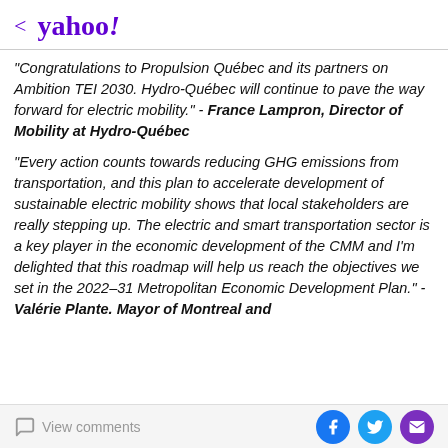< yahoo!
"Congratulations to Propulsion Québec and its partners on Ambition TEI 2030. Hydro-Québec will continue to pave the way forward for electric mobility." - France Lampron, Director of Mobility at Hydro-Québec
"Every action counts towards reducing GHG emissions from transportation, and this plan to accelerate development of sustainable electric mobility shows that local stakeholders are really stepping up. The electric and smart transportation sector is a key player in the economic development of the CMM and I'm delighted that this roadmap will help us reach the objectives we set in the 2022–31 Metropolitan Economic Development Plan." - Valérie Plante. Mayor of Montreal and
View comments